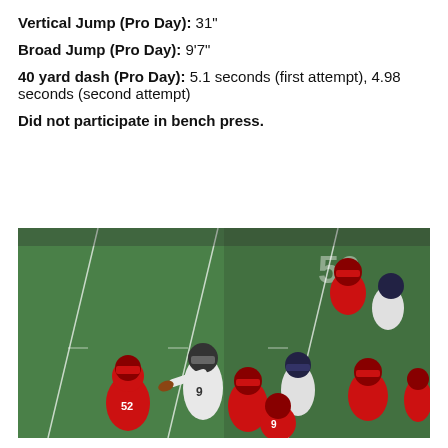Vertical Jump (Pro Day): 31"
Broad Jump (Pro Day): 9'7"
40 yard dash (Pro Day): 5.1 seconds (first attempt), 4.98 seconds (second attempt)
Did not participate in bench press.
[Figure (photo): Football game action photo showing a quarterback in a white Tulsa #9 jersey dropping back to pass, surrounded by red-uniformed defenders including #52, on a green football field.]